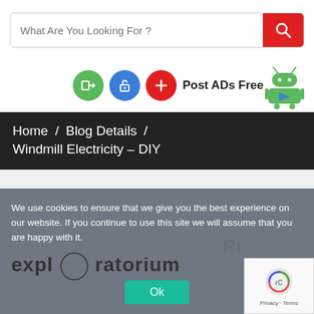[Figure (screenshot): Search bar with placeholder text 'What Are You Looking For ?' and a red search button with a magnifying glass icon]
[Figure (infographic): Three circular icon buttons (green login, blue unlock, red plus) followed by 'Post ADs Free' text and an Android robot icon]
Home / Blog Details / Windmill Electricity – DIY
We use cookies to ensure that we give you the best experience on our website. If you continue to use this site we will assume that you are happy with it.
exploratorium
Ok